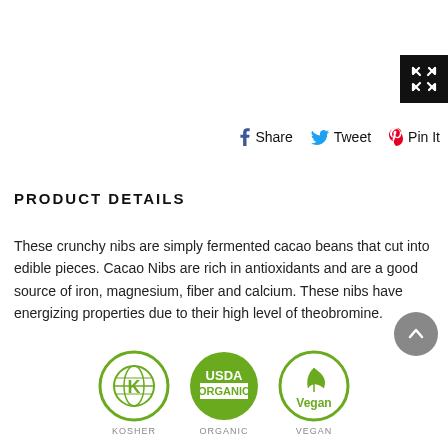[Figure (other): Expand/fullscreen button icon (black square with white expand arrows)]
Share  Tweet  Pin It
PRODUCT DETAILS
These crunchy nibs are simply fermented cacao beans that cut into edible pieces. Cacao Nibs are rich in antioxidants and are a good source of iron, magnesium, fiber and calcium. These nibs have energizing properties due to their high level of theobromine.
[Figure (logo): Kosher certification logo - green circle with K symbol and globe]
[Figure (logo): USDA Organic certification logo - green circle with USDA ORGANIC text]
[Figure (logo): Vegan certification logo - green circle with Vegan text and leaf]
KOSHER
ORGANIC
VEGAN